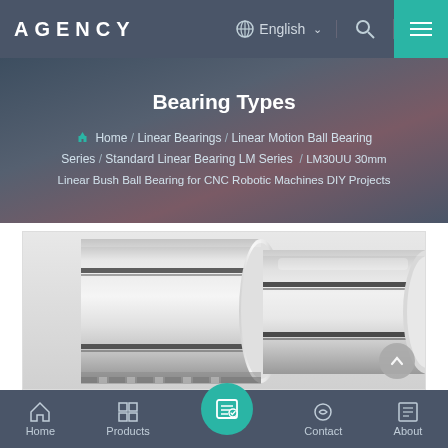AGENCY | English | Search | Menu
Bearing Types
Home / Linear Bearings / Linear Motion Ball Bearing Series / Standard Linear Bearing LM Series / LM30UU 30mm Linear Bush Ball Bearing for CNC Robotic Machines DIY Projects
[Figure (photo): Close-up photo of a cylindrical silver linear ball bearing (LM30UU) showing metallic surface with dark groove rings]
Home | Products | [center icon] | Contact | About